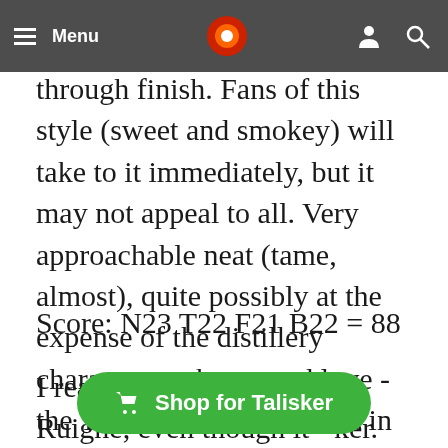Menu
through finish. Fans of this style (sweet and smokey) will take to it immediately, but it may not appeal to all. Very approachable neat (tame, almost), quite possibly at the expense of the distillery character we know and love - the Talisker "fire" is absent in this one. Is this a bad thing?
Score: N23 T22 F21 B22 = 88
I really enjoyed the Port Ruighe, even though it's a very different Talisker. That nose in particular is an amazing melange
[Figure (other): Green 'Shop for Talisker' button overlay with shopping cart icon]